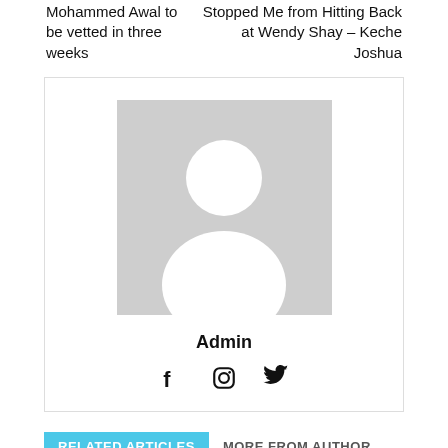Mohammed Awal to be vetted Stopped Me from Hitting Back in three weeks
Stopped Me from Hitting Back at Wendy Shay – Keche Joshua
[Figure (illustration): Grey avatar placeholder with silhouette of a person (head and shoulders)]
Admin
[Figure (infographic): Social media icons: Facebook (f), Instagram (circle camera), Twitter (bird)]
RELATED ARTICLES
MORE FROM AUTHOR
[Figure (photo): Thumbnail image for article about doctor fondling breast]
A doctor fondled my breast at 37 military hospital when we took my...